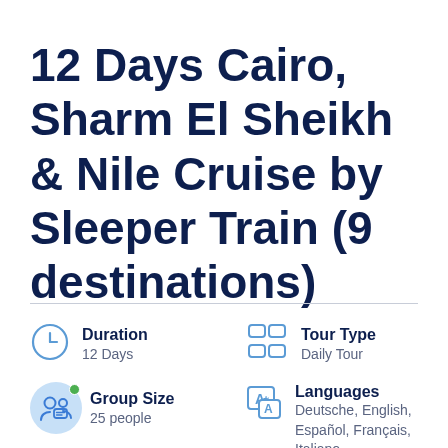12 Days Cairo, Sharm El Sheikh & Nile Cruise by Sleeper Train (9 destinations)
Duration: 12 Days | Tour Type: Daily Tour | Group Size: 25 people | Languages: Deutsche, English, Español, Français, Italiano...